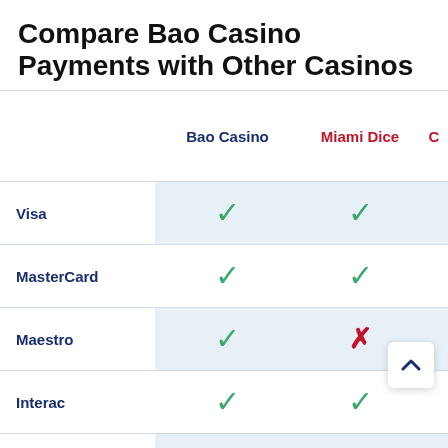Compare Bao Casino Payments with Other Casinos
|  | Bao Casino | Miami Dice | C… |
| --- | --- | --- | --- |
| Visa | ✓ | ✓ |  |
| MasterCard | ✓ | ✓ |  |
| Maestro | ✓ | ✗ |  |
| Interac | ✓ | ✓ |  |
| Interac e-Transfer | ✗ | ✓ |  |